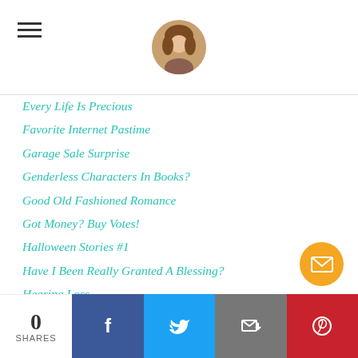Every Life Is Precious
Favorite Internet Pastime
Garage Sale Surprise
Genderless Characters In Books?
Good Old Fashioned Romance
Got Money? Buy Votes!
Halloween Stories #1
Have I Been Really Granted A Blessing?
Hearing Loss
Hidden Messages
High Hopes And Deep Disappointments Of A Writer
How Did I End Up Here?
I'm A Better Person Today Because...
I'm Better Than You!
Inferior Or Equal?
0 SHARES | Facebook | Twitter | Email | Pinterest